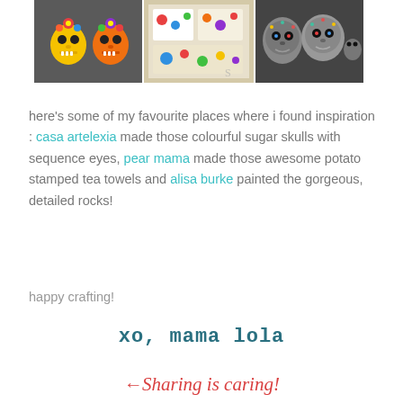[Figure (photo): Three photos in a horizontal strip: left shows two colorful clay sugar skulls (yellow/orange with flower decorations on a dark background), middle shows potato-stamped tea towels with colorful prints, right shows hand-painted decorative rocks with sugar skull designs.]
here's some of my favourite places where i found inspiration : casa artelexia made those colourful sugar skulls with sequence eyes, pear mama made those awesome potato stamped tea towels and alisa burke painted the gorgeous, detailed rocks!
happy crafting!
xo, mama lola
Sharing is caring!